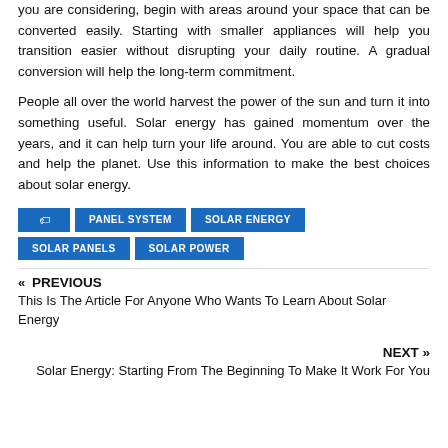you are considering, begin with areas around your space that can be converted easily. Starting with smaller appliances will help you transition easier without disrupting your daily routine. A gradual conversion will help the long-term commitment.
People all over the world harvest the power of the sun and turn it into something useful. Solar energy has gained momentum over the years, and it can help turn your life around. You are able to cut costs and help the planet. Use this information to make the best choices about solar energy.
PANEL SYSTEM
SOLAR ENERGY
SOLAR PANELS
SOLAR POWER
« PREVIOUS
This Is The Article For Anyone Who Wants To Learn About Solar Energy
NEXT »
Solar Energy: Starting From The Beginning To Make It Work For You